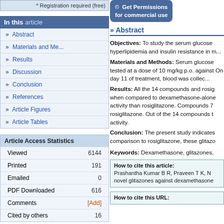* Registration required (free)
In this article
» Abstract
» Materials and Me...
» Results
» Discussion
» Conclusion
» References
» Article Figures
» Article Tables
|  |  |
| --- | --- |
| Viewed | 6144 |
| Printed | 191 |
| Emailed | 0 |
| PDF Downloaded | 616 |
| Comments | [Add] |
| Cited by others | 16 |
[Figure (other): Get Permissions for commercial use button]
» Abstract
Objectives: To study the serum glucose hyperlipidemia and insulin resistance in m... Materials and Methods: Serum glucose tested at a dose of 10 mg/kg p.o. against On day 11 of treatment, blood was collec... Results: All the 14 compounds and rosig when compared to dexamethasone-alone activity than rosiglitazone. Compounds 7 rosiglitazone. Out of the 14 compounds t activity. Conclusion: The present study indicates comparison to rosiglitazone, these glitazo
Keywords: Dexamethasone, glitazones,
How to cite this article:
Prashantha Kumar B R, Praveen T K, N novel glitazones against dexamethasone
How to cite this URL: